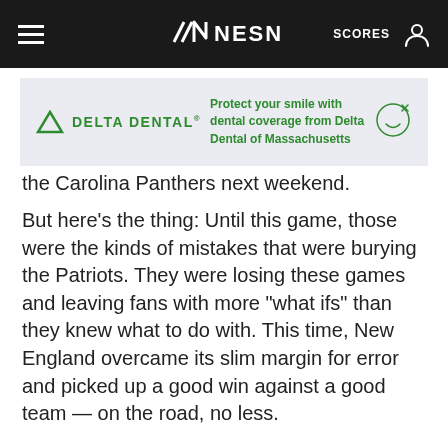NESN | SCORES
[Figure (other): Delta Dental advertisement banner. Shows Delta Dental logo on left and text 'Protect your smile with dental coverage from Delta Dental of Massachusetts' on right, with a smiley face icon.]
the Carolina Panthers next weekend.
But here’s the thing: Until this game, those were the kinds of mistakes that were burying the Patriots. They were losing these games and leaving fans with more “what ifs” than they knew what to do with. This time, New England overcame its slim margin for error and picked up a good win against a good team — on the road, no less.
Now, at 4-4 and with matchups against the Cleveland Browns, Indianapolis Colts and Buffalo Bills still in front of them, the Patriots are back in control of their own destiny. For the time being, the next game doesn’t need to be